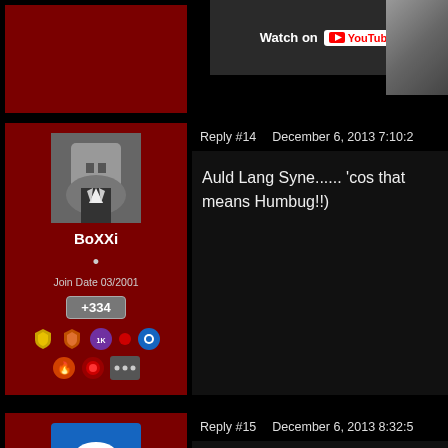[Figure (screenshot): Forum screenshot showing top area with red user panel and YouTube video thumbnail with 'Watch on YouTube' text]
Watch on YouTube
BoXXi
Join Date 03/2001
+334
Reply #14    December 6, 2013 7:10:2
Auld Lang Syne...... 'cos that means Humbug!!)
DPCloud
Join Date 09/2008
Reply #15    December 6, 2013 8:32:5
I'm sorry but this will never get old...